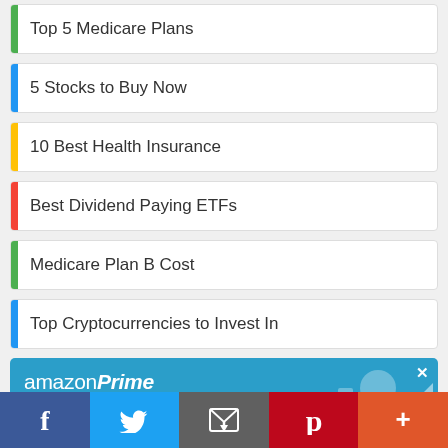Top 5 Medicare Plans
5 Stocks to Buy Now
10 Best Health Insurance
Best Dividend Paying ETFs
Medicare Plan B Cost
Top Cryptocurrencies to Invest In
[Figure (infographic): Amazon Prime advertisement banner with 'Give the gift of Prime' tagline on blue background with decorative white icons]
[Figure (infographic): Social media sharing bar with Facebook, Twitter, Email, Pinterest, and More buttons]